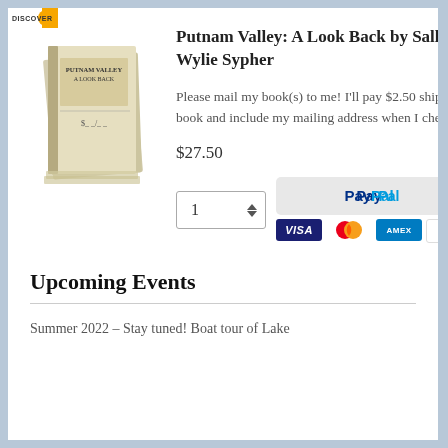[Figure (photo): Stack of books titled 'Putnam Valley: A Look Back']
Putnam Valley: A Look Back by Sallie & Wylie Sypher
Please mail my book(s) to me! I'll pay $2.50 shipping per book and include my mailing address when I check out.
$27.50
[Figure (screenshot): Quantity selector showing 1 with up/down arrows, PayPal button, and credit card icons (Visa, Mastercard, Amex, Discover)]
Upcoming Events
Summer 2022 – Stay tuned! Boat tour of Lake